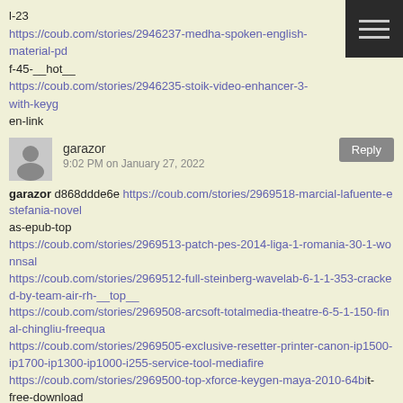l-23
https://coub.com/stories/2946237-medha-spoken-english-material-pd
f-45-__hot__
https://coub.com/stories/2946235-stoik-video-enhancer-3-with-keygen-link
garazor
9:02 PM on January 27, 2022
garazor d868ddde6e https://coub.com/stories/2969518-marcial-lafuente-estefania-novel
as-epub-top
https://coub.com/stories/2969513-patch-pes-2014-liga-1-romania-30-1-wonnsal
https://coub.com/stories/2969512-full-steinberg-wavelab-6-1-1-353-cracked-by-team-air-rh-__top__
https://coub.com/stories/2969508-arcsoft-totalmedia-theatre-6-5-1-150-final-chingliu-freequa
https://coub.com/stories/2969505-exclusive-resetter-printer-canon-ip1500-ip1700-ip1300-ip1000-i255-service-tool-mediafire
https://coub.com/stories/2969500-top-xforce-keygen-maya-2010-64bit-free-download
https://coub.com/stories/2969504-link-swords-and-sandals-2-activation-code-serial
https://coub.com/stories/2969502-ep12-a2-pdf-phemyan
https://coub.com/stories/2969503-solucionario-de-venero-matematica-basica-pdf-129
https://coub.com/stories/2969501-top-daniel-el-travieso-1993-dvdr